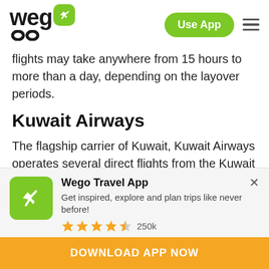[Figure (logo): Wego logo with green airplane icon and hamburger menu, Use App button]
flights may take anywhere from 15 hours to more than a day, depending on the layover periods.
Kuwait Airways
The flagship carrier of Kuwait, Kuwait Airways operates several direct flights from the Kuwait International Airport to prominent Indian cities every
[Figure (screenshot): Wego Travel App promotional banner with airplane icon, star rating 4.5 stars 250k reviews, and DOWNLOAD APP NOW button]